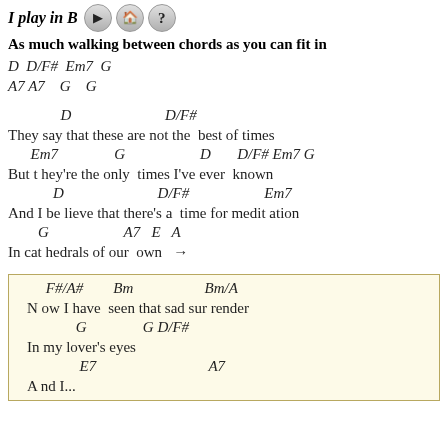I play in B
As much walking between chords as you can fit in
D  D/F#  Em7  G
A7 A7    G    G
D                    D/F#
They say that these are not the  best of times
      Em7               G                    D       D/F# Em7 G
But they're the only  times I've ever  known
            D                         D/F#                    Em7
And I believe that there's a  time for meditation
        G                    A7   E   A
In cathedrals of our  own   →
F#/A#        Bm                   Bm/A
Now I have  seen that sad surrender
             G               G D/F#
In my lover's eyes
              E7                              A7
And I...